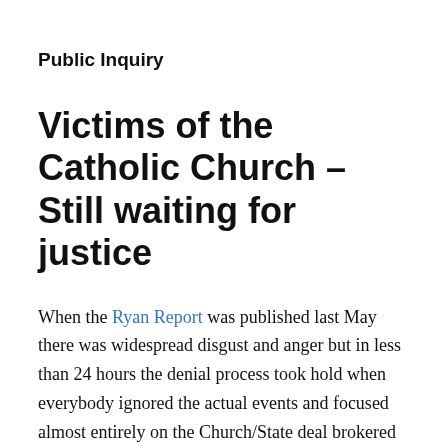Public Inquiry
Victims of the Catholic Church – Still waiting for justice
When the Ryan Report was published last May there was widespread disgust and anger but in less than 24 hours the denial process took hold when everybody ignored the actual events and focused almost entirely on the Church/State deal brokered by former minister Michael